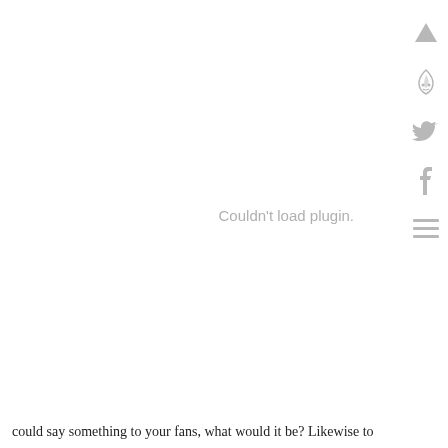[Figure (other): Sidebar social/navigation icons on right edge: up arrow, flame/skull icon, Twitter bird, Facebook f, hamburger menu lines]
Couldn't load plugin.
could say something to your fans, what would it be? Likewise to